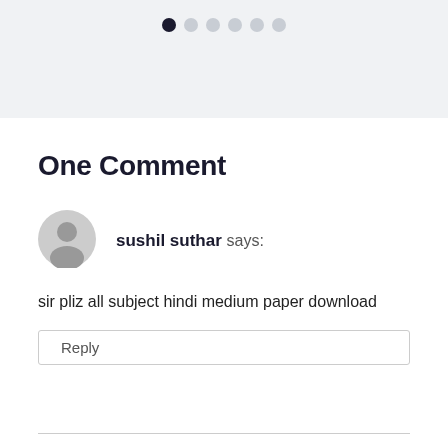[Figure (other): Pagination dots indicator: one filled dark dot followed by five light gray dots, displayed against a light gray background banner]
One Comment
[Figure (other): Gray circular user avatar icon with a generic person silhouette]
sushil suthar says:
sir pliz all subject hindi medium paper download
Reply